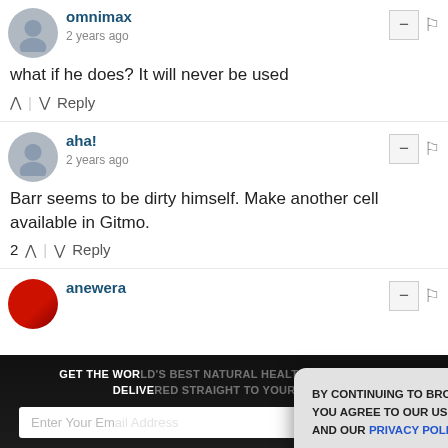omnimax
2 years ago
what if he does? It will never be used
Reply
aha!
2 years ago
Barr seems to be dirty himself. Make another cell available in Gitmo.
2 Reply
anewera
[Figure (screenshot): Dark overlay newsletter signup with email input and subscribe button, partially obscured by a cookie consent popup modal. The popup reads: BY CONTINUING TO BROWSE OUR SITE YOU AGREE TO OUR USE OF COOKIES AND OUR PRIVACY POLICY. with an Agree and close button.]
GET THE WORLD'S BEST NATURAL HEALTH NEWSLETTER DELIVERED STRAIGHT TO YOUR INBOX
BY CONTINUING TO BROWSE OUR SITE YOU AGREE TO OUR USE OF COOKIES AND OUR PRIVACY POLICY.
Agree and close
Enter Your Email Address
SUBSCRIBE